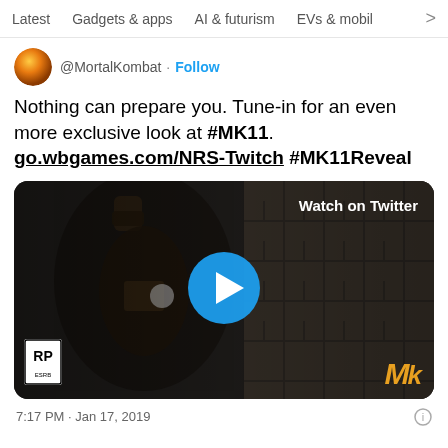Latest  Gadgets & apps  AI & futurism  EVs & mobil >
@MortalKombat · Follow
Nothing can prepare you. Tune-in for an even more exclusive look at #MK11. go.wbgames.com/NRS-Twitch #MK11Reveal
[Figure (screenshot): Video thumbnail showing a Mortal Kombat 11 game character in dark setting with a play button overlay, 'Watch on Twitter' label, RP rating badge, and MK logo]
7:17 PM · Jan 17, 2019